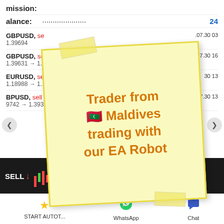mission:
alance: 24
GBPUSD, sell 1.39694  .07.30 03
GBPUSD, sell  1.39631 → 1.  07.30 16
EURUSD, sell 0.  1.18988 → 1.1  30 13
BPUSD, sell 0.3  9742 → 1.39320  2021.07.30 13
sell 0.24  1 39492  2021.07.
[Figure (screenshot): Trading app screenshot showing sell orders for GBPUSD and EURUSD with a sticky note overlay reading 'Trader from Maldives trading with our EA Robot']
Trader from 🇲🇻 Maldives trading with our EA Robot
SELL↓ (banner strip with crown icon)
START AUTOT...  WhatsApp  Chat